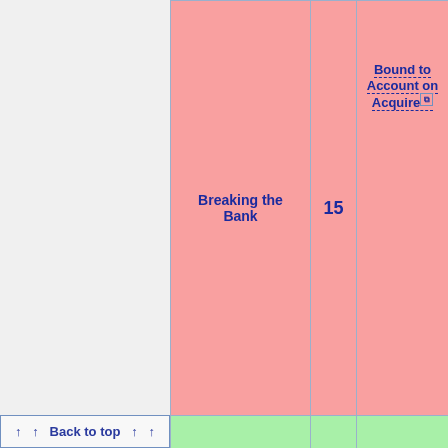| Name | Level | Bound to ... on ... |
| --- | --- | --- |
| Breaking the Bank | 15 | Bound to Account on Acquire |
| Corruption of Nature (Level 16) | 16 | Bound to Character on Equip |
↑ ↑ Back to top ↑ ↑